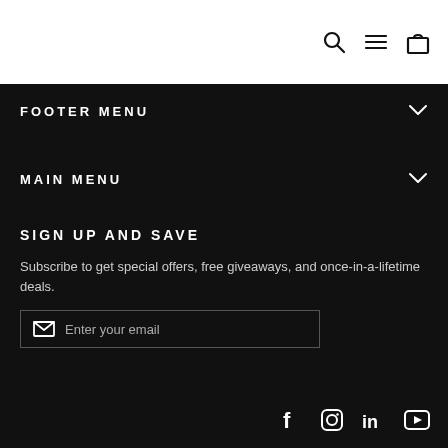[Figure (screenshot): Top navigation bar with search, menu, and cart icons on white background]
FOOTER MENU
MAIN MENU
SIGN UP AND SAVE
Subscribe to get special offers, free giveaways, and once-in-a-lifetime deals.
Enter your email
[Figure (infographic): Social media icons: Facebook, Instagram, LinkedIn, YouTube]